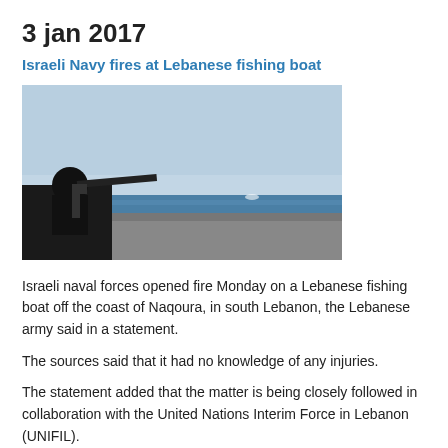3 jan 2017
Israeli Navy fires at Lebanese fishing boat
[Figure (photo): A military naval vessel with a mounted gun in the foreground, the sea and horizon visible in the background, hazy blue sky.]
Israeli naval forces opened fire Monday on a Lebanese fishing boat off the coast of Naqoura, in south Lebanon, the Lebanese army said in a statement.
The sources said that it had no knowledge of any injuries.
The statement added that the matter is being closely followed in collaboration with the United Nations Interim Force in Lebanon (UNIFIL).